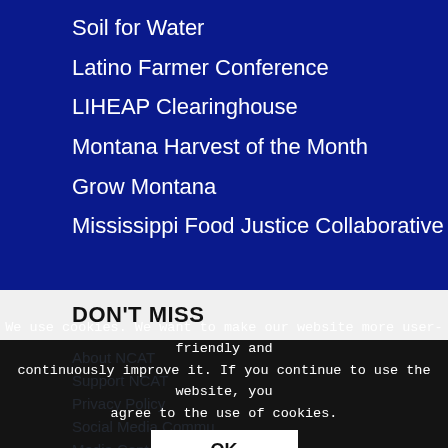Soil for Water
Latino Farmer Conference
LIHEAP Clearinghouse
Montana Harvest of the Month
Grow Montana
Mississippi Food Justice Collaborative
DON'T MISS
About NCAT
Support NCAT
Privacy Policy
Social Media Community Policy
Media Contact
Staff Intranet
We use cookies. We want to make our website more user-friendly and continuously improve it. If you continue to use the website, you agree to the use of cookies.